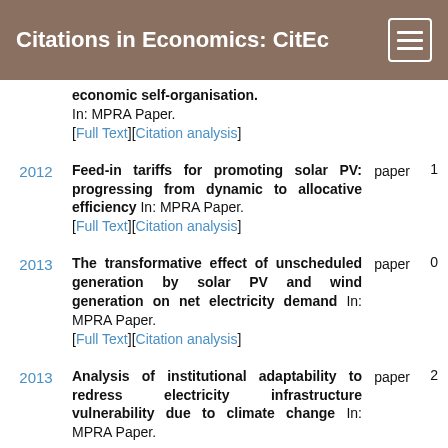Citations in Economics: CitEc
economic self-organisation. In: MPRA Paper. [Full Text][Citation analysis]
2012 | Feed-in tariffs for promoting solar PV: progressing from dynamic to allocative efficiency In: MPRA Paper. [Full Text][Citation analysis] | paper | 1
2013 | The transformative effect of unscheduled generation by solar PV and wind generation on net electricity demand In: MPRA Paper. [Full Text][Citation analysis] | paper | 0
2013 | Analysis of institutional adaptability to redress electricity infrastructure vulnerability due to climate change In: MPRA Paper. | paper | 2